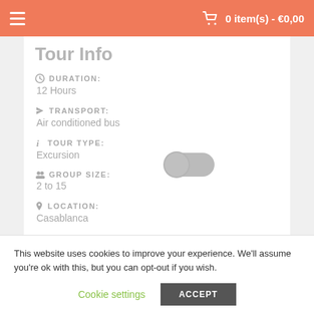0 item(s) - €0,00
Tour Info
DURATION:
12 Hours
TRANSPORT:
Air conditioned bus
TOUR TYPE:
Excursion
GROUP SIZE:
2 to 15
LOCATION:
Casablanca
This website uses cookies to improve your experience. We'll assume you're ok with this, but you can opt-out if you wish.
Cookie settings  ACCEPT